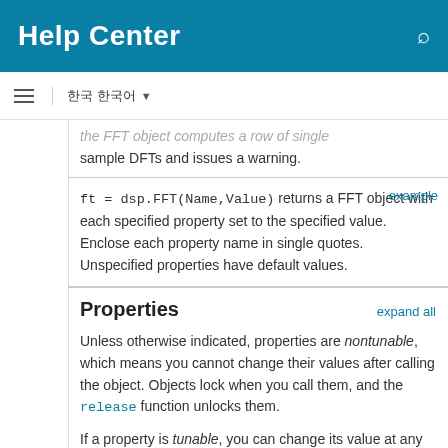Help Center
the FFT object computes a row of single sample DFTs and issues a warning.
ft = dsp.FFT(Name,Value) returns a FFT object with each specified property set to the specified value. Enclose each property name in single quotes. Unspecified properties have default values.
Properties
Unless otherwise indicated, properties are nontunable, which means you cannot change their values after calling the object. Objects lock when you call them, and the release function unlocks them.
If a property is tunable, you can change its value at any time.